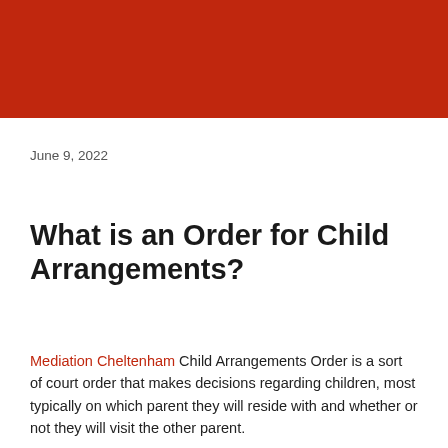[Figure (other): Red banner header background]
June 9, 2022
What is an Order for Child Arrangements?
Mediation Cheltenham Child Arrangements Order is a sort of court order that makes decisions regarding children, most typically on which parent they will reside with and whether or not they will visit the other parent.